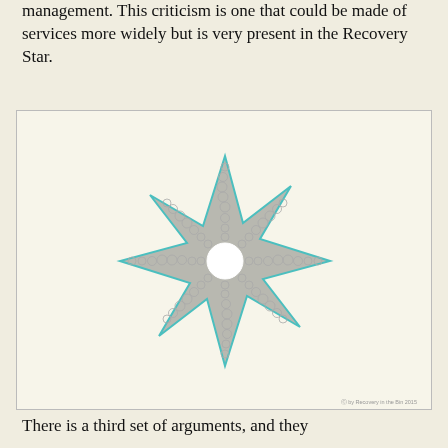management. This criticism is one that could be made of services more widely but is very present in the Recovery Star.
[Figure (other): A star diagram (similar to the Recovery Star) with 8 points, overlaid with small circles arranged along each arm. Labels around the star indicate social determinants: unstable housing (top), sexism (top-right), loss of welfare state (right), loss of rights (lower-right), economic inequality (bottom-right), homophobia/transphobia (bottom), racism (bottom-left), discrimination (left), trauma/iatrogenic trauma (upper-left), poverty (upper-left). Copyright: Recovery in the Bin 2015.]
There is a third set of arguments, and they